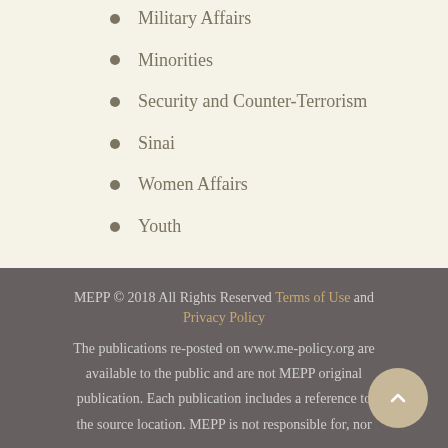Military Affairs
Minorities
Security and Counter-Terrorism
Sinai
Women Affairs
Youth
MEPP © 2018 All Rights Reserved Terms of Use and Privacy Policy The publications re-posted on www.me-policy.org are available to the public and are not MEPP original publication. Each publication includes a reference to the source location. MEPP is not responsible for, nor